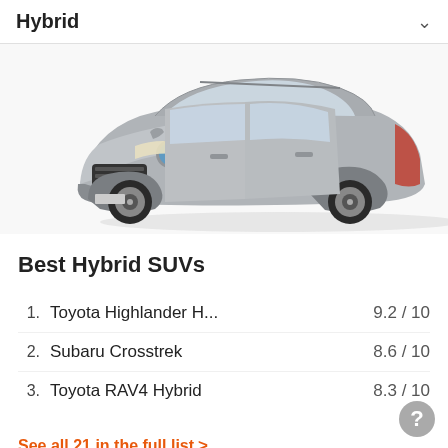Hybrid
[Figure (photo): Front-angled view of a silver Toyota Highlander Hybrid SUV on a white background]
Best Hybrid SUVs
1. Toyota Highlander H... 9.2 / 10
2. Subaru Crosstrek 8.6 / 10
3. Toyota RAV4 Hybrid 8.3 / 10
See all 21 in the full list >